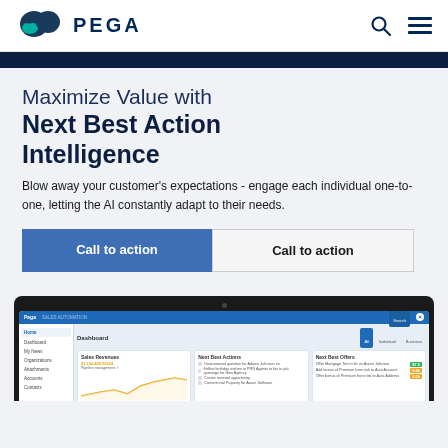PEGA
Maximize Value with Next Best Action Intelligence
Blow away your customer's expectations - engage each individual one-to-one, letting the AI constantly adapt to their needs.
Call to action | Call to action
[Figure (screenshot): Pega Sales Automation dashboard screenshot showing Dashboard with Sales Revenues panel, Next Best Actions panel, and Next Best Offers panel with colored indicators]